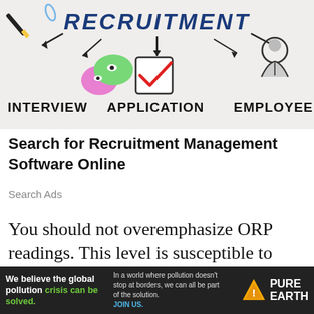[Figure (illustration): Recruitment process illustration showing RECRUITMENT heading at top with arrows pointing to INTERVIEW (speech bubble icons), APPLICATION (checkbox with red checkmark), and EMPLOYEE (person icon) labels on a white background with hand-drawn style elements.]
Search for Recruitment Management Software Online
Search Ads
You should not overemphasize ORP readings. This level is susceptible to errors. The best way to use ORP measures is to determine if there is a problem in
[Figure (screenshot): Video player overlay showing 'No compatible source was found for this media.' message on dark semi-transparent background with a close button.]
[Figure (infographic): Pure Earth advertisement banner with text: We believe the global pollution crisis can be solved. In a world where pollution doesn't stop at borders, we can all be part of the solution. JOIN US. With Pure Earth logo (diamond warning sign icon) on dark background.]